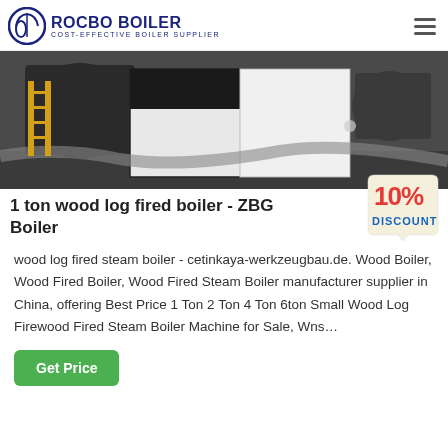ROCBO BOILER - COST-EFFECTIVE BOILER SUPPLIER
[Figure (photo): Industrial boiler equipment in a manufacturing facility, showing a large black and white rectangular boiler unit with industrial machinery in the background.]
1 ton wood log fired boiler - ZBG Boiler
[Figure (other): 10% DISCOUNT badge/sticker in red and blue text on a beige background]
wood log fired steam boiler - cetinkaya-werkzeugbau.de. Wood Boiler, Wood Fired Boiler, Wood Fired Steam Boiler manufacturer supplier in China, offering Best Price 1 Ton 2 Ton 4 Ton 6ton Small Wood Log Firewood Fired Steam Boiler Machine for Sale, Wns…
Get Price